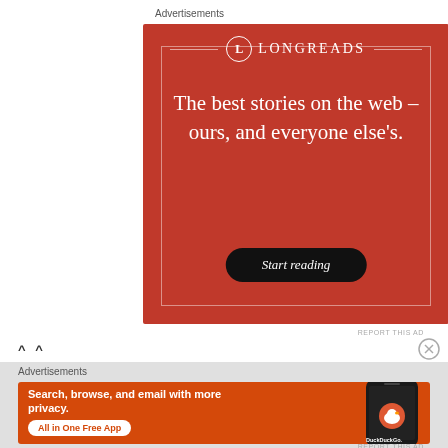Advertisements
[Figure (illustration): Longreads advertisement on red background with white text: 'The best stories on the web – ours, and everyone else's.' with a 'Start reading' button]
REPORT THIS AD
^ ^
Advertisements
[Figure (illustration): DuckDuckGo advertisement on orange background with white text: 'Search, browse, and email with more privacy. All in One Free App' with DuckDuckGo phone mockup]
REPORT THIS AD